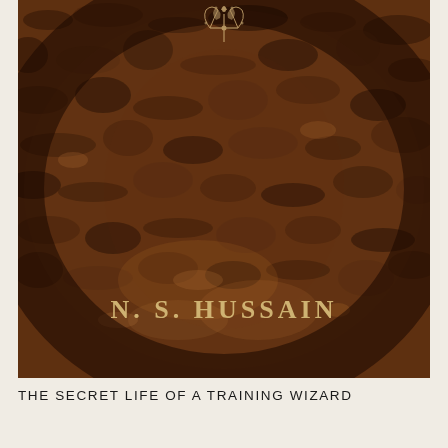[Figure (illustration): Book cover image showing a dark reddish-brown textured leather or bark surface with an ornamental flourish symbol at the top center, and the author name 'N. S. Hussain' written in cream/gold serif lettering near the bottom center of the cover.]
THE SECRET LIFE OF A TRAINING WIZARD